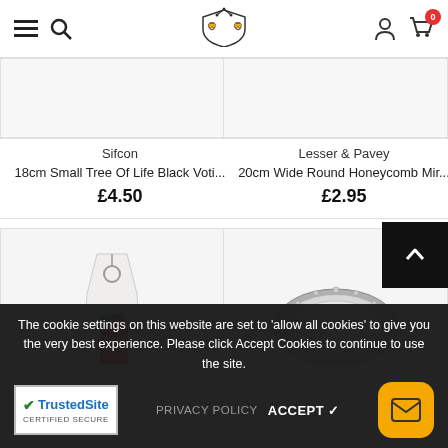Jonquil Jewellery website header with navigation icons
Sifcon
18cm Small Tree Of Life Black Voti...
£4.50
Lesser & Pavey
20cm Wide Round Honeycomb Mir...
£2.95
[Figure (photo): Product image: keyring with tag and ribbon]
[Figure (photo): Product image: round decorative mirror with crystal border]
The cookie settings on this website are set to 'allow all cookies' to give you the very best experience. Please click Accept Cookies to continue to use the site.
PRIVACY POLICY   ACCEPT ✓
[Figure (logo): TrustedSite Certified Secure badge]